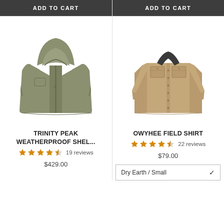[Figure (screenshot): E-commerce product listing page showing two outdoor apparel products side by side with Add to Cart buttons, product images, names, star ratings, and prices.]
ADD TO CART
ADD TO CART
[Figure (photo): Olive/sage green hooded weatherproof shell jacket displayed on white background]
[Figure (photo): Khaki/tan long sleeve field shirt with chest pockets displayed on white background]
TRINITY PEAK WEATHERPROOF SHEL...
19 reviews
$429.00
OWYHEE FIELD SHIRT
22 reviews
$79.00
Dry Earth / Small